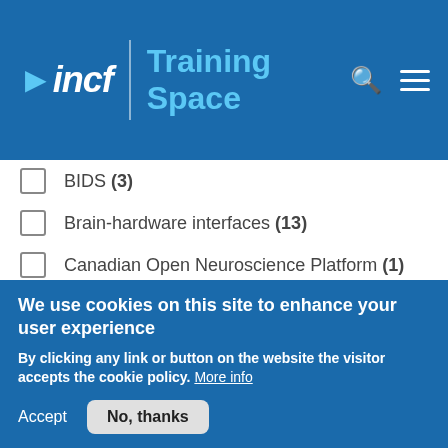INCF Training Space
BIDS (3)
Brain-hardware interfaces (13)
Canadian Open Neuroscience Platform (1)
Clinical neuroscience (13)
CONP (1)
DANDI archive (1)
Data curation (2)
We use cookies on this site to enhance your user experience
By clicking any link or button on the website the visitor accepts the cookie policy. More info
Accept   No, thanks